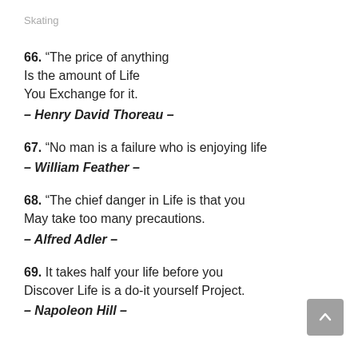Skating
66. “The price of anything Is the amount of Life You Exchange for it. – Henry David Thoreau –
67. “No man is a failure who is enjoying life – William Feather –
68. “The chief danger in Life is that you May take too many precautions. – Alfred Adler –
69. It takes half your life before you Discover Life is a do-it yourself Project. – Napoleon Hill –